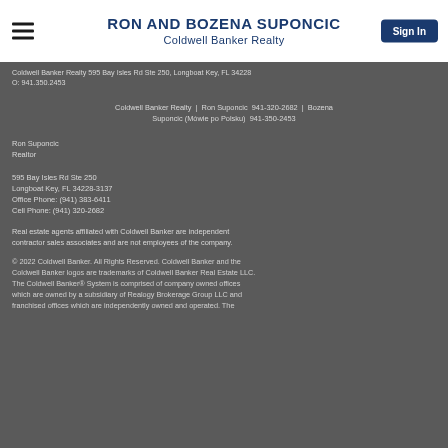RON AND BOZENA SUPONCIC
Coldwell Banker Realty
Coldwell Banker Realty 595 Bay Isles Rd Ste 250, Longboat Key, FL 34228
O: 941.350.2453
Coldwell Banker Realty | Ron Suponcic 941-320-2682 | Bozena Suponcic (Mówie po Polsku) 941-350-2453
Ron Suponcic
Realtor

595 Bay Isles Rd Ste 250
Longboat Key, FL 34228-3137
Office Phone: (941) 383-6411
Cell Phone: (941) 320-2682
Real estate agents affiliated with Coldwell Banker are independent contractor sales associates and are not employees of the company.
© 2022 Coldwell Banker. All Rights Reserved. Coldwell Banker and the Coldwell Banker logos are trademarks of Coldwell Banker Real Estate LLC. The Coldwell Banker® System is comprised of company owned offices which are owned by a subsidiary of Realogy Brokerage Group LLC and franchised offices which are independently owned and operated. The